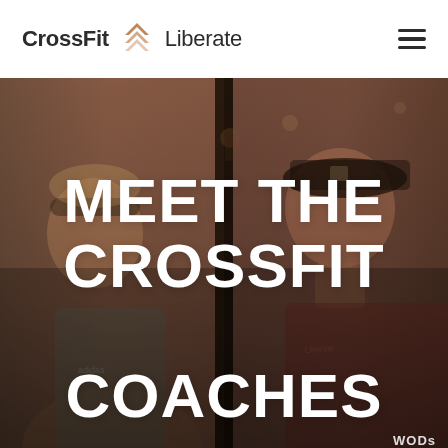[Figure (logo): CrossFit Liberate logo with chevron/arrow icon in brown/copper color between the words CrossFit and Liberate]
[Figure (photo): Two CrossFit coaches in a sepia-toned photo. Left: a smiling man with a bandana headband wearing a grey t-shirt. Right: a man in profile wearing a black baseball cap and dark red t-shirt. Text overlay reads MEET THE CROSSFIT COACHES in large bold white capital letters. Partial text WODs visible at bottom right.]